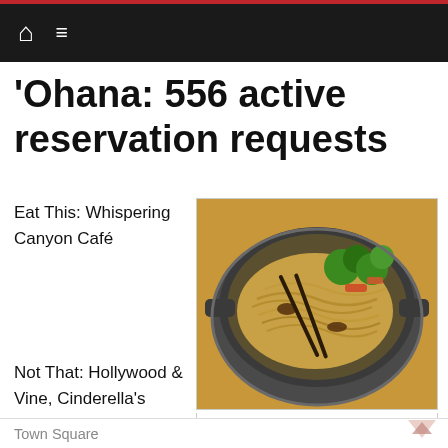'Ohana: 556 active reservation requests
Eat This: Whispering Canyon Café
[Figure (photo): A large wok/pan filled with stir-fried noodles with broccoli, carrots, mushrooms, and chopsticks, photographed from above on a wooden surface.]
The insta-famous 'Ohana noodles
Not That: Hollywood & Vine, Cinderella's Royal Table, and Tony's
Town Square